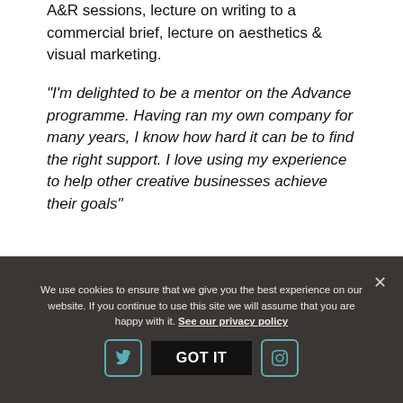A&R sessions, lecture on writing to a commercial brief, lecture on aesthetics & visual marketing.
"I'm delighted to be a mentor on the Advance programme. Having ran my own company for many years, I know how hard it can be to find the right support. I love using my experience to help other creative businesses achieve their goals"
We use cookies to ensure that we give you the best experience on our website. If you continue to use this site we will assume that you are happy with it. See our privacy policy GOT IT